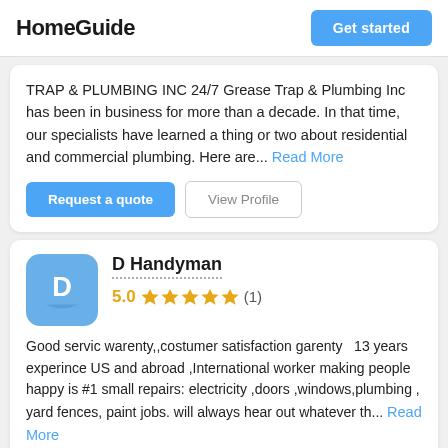HomeGuide | Get started
TRAP & PLUMBING INC 24/7 Grease Trap & Plumbing Inc has been in business for more than a decade. In that time, our specialists have learned a thing or two about residential and commercial plumbing. Here are... Read More
Request a quote | View Profile
D Handyman
5.0 ★★★★★ (1)
Good servic warenty,,costumer satisfaction garenty  13 years experince US and abroad ,International worker making people happy is #1 small repairs: electricity ,doors ,windows,plumbing , yard fences, paint jobs. will always hear out whatever th... Read More